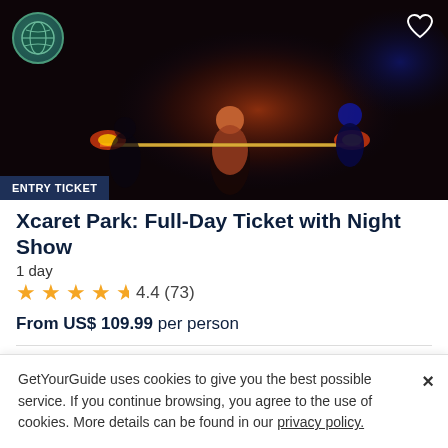[Figure (photo): Hero image showing performers with fire at Xcaret Park night show, dark dramatic lighting with orange and blue tones. Globe/earth logo badge in top left. Heart icon in top right. 'ENTRY TICKET' label badge at bottom left of image.]
Xcaret Park: Full-Day Ticket with Night Show
1 day
4.4 (73)
From US$ 109.99 per person
Customer reviews
GetYourGuide uses cookies to give you the best possible service. If you continue browsing, you agree to the use of cookies. More details can be found in our privacy policy.